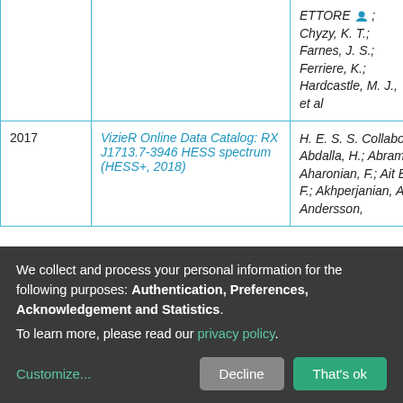| Year | Title | Authors | Access |
| --- | --- | --- | --- |
|  |  | ETTORE [icon]; Chyzy, K. T.; Farnes, J. S.; Ferriere, K.; Hardcastle, M. J., et al |  |
| 2017 | VizieR Online Data Catalog: RX J1713.7-3946 HESS spectrum (HESS+, 2018) | H. E. S. S. Collaboration; Abdalla, H.; Abramowski, A.; Aharonian, F.; Ait Benkhali, F.; Akhperjanian, A. G.; Andersson, | open |
We collect and process your personal information for the following purposes: Authentication, Preferences, Acknowledgement and Statistics. To learn more, please read our privacy policy.
Customize...